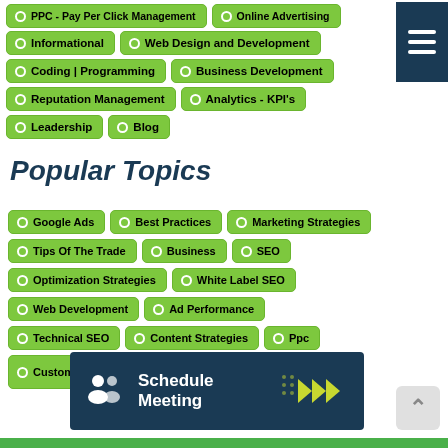PPC - Pay Per Click Management
Online Advertising
Informational
Web Design and Development
Coding | Programming
Business Development
Reputation Management
Analytics - KPI's
Leadership
Blog
Popular Topics
Google Ads
Best Practices
Marketing Strategies
Tips Of The Trade
Business
SEO
Optimization Strategies
White Label SEO
Web Development
Ad Performance
Technical SEO
Content Strategies
Ppc
Customer Service
Web Design
[Figure (infographic): Schedule Meeting button banner with dark blue background, people icon, Schedule Meeting text, and green chevron arrows]